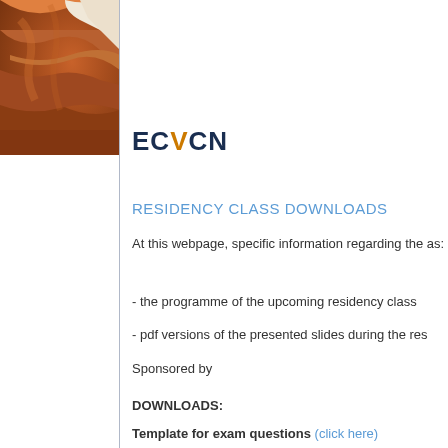[Figure (photo): Close-up photo of brown and white animal fur/hide, likely a cow, in the top-left corner]
ECVCN
RESIDENCY CLASS DOWNLOADS
At this webpage, specific information regarding the as:
- the programme of the upcoming residency class
- pdf versions of the presented slides during the res
Sponsored by
DOWNLOADS:
Template for exam questions (click here)